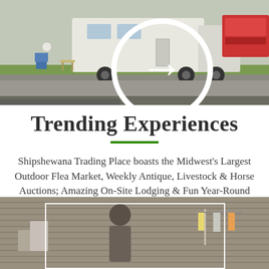[Figure (photo): Outdoor flea market area with RVs, vendor tents, camping chairs, and vehicles including a pink/red truck in the background. A right-arrow circle button is visible in the upper left.]
Trending Experiences
Shipshewana Trading Place boasts the Midwest's Largest Outdoor Flea Market, Weekly Antique, Livestock & Horse Auctions; Amazing On-Site Lodging & Fun Year-Round Special Events!
[Figure (photo): Indoor shop or clothing boutique scene with a person browsing items on racks, clothing hanging on wall-mounted displays, with a white rectangular overlay box in the center.]